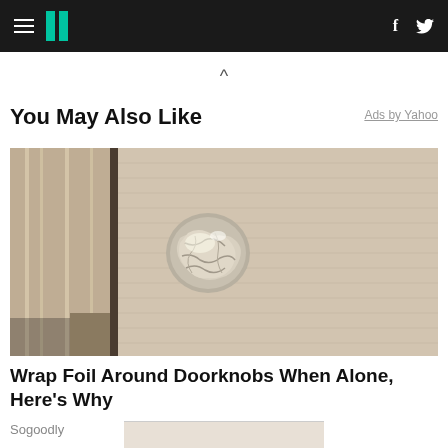HuffPost navigation with hamburger menu, logo, Facebook and Twitter icons
^
You May Also Like
Ads by Yahoo
[Figure (photo): A door knob wrapped in aluminum foil on a wooden door]
Wrap Foil Around Doorknobs When Alone, Here's Why
Sogoodly